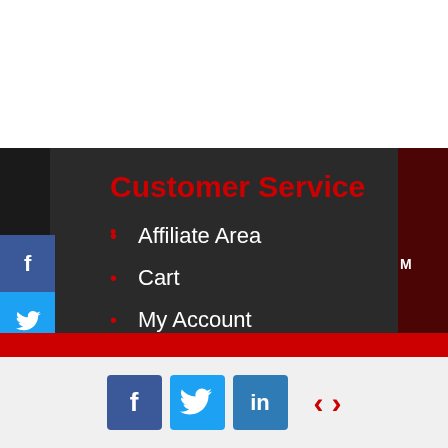Customer Service
Affiliate Area
Cart
My Account
Shop
Contact AST
Company Information